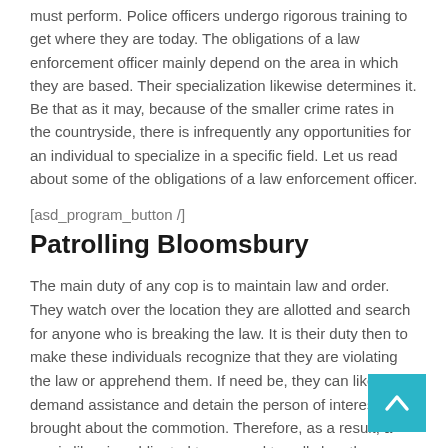must perform. Police officers undergo rigorous training to get where they are today. The obligations of a law enforcement officer mainly depend on the area in which they are based. Their specialization likewise determines it. Be that as it may, because of the smaller crime rates in the countryside, there is infrequently any opportunities for an individual to specialize in a specific field. Let us read about some of the obligations of a law enforcement officer.
[asd_program_button /]
Patrolling Bloomsbury
The main duty of any cop is to maintain law and order. They watch over the location they are allotted and search for anyone who is breaking the law. It is their duty then to make these individuals recognize that they are violating the law or apprehend them. If need be, they can likewise demand assistance and detain the person of interest who brought about the commotion. Therefore, as a result, a cop is likewise obligated to respond to calls by other cops who on patrol, even if the officer who is requesting help isn't in his assigned zone. They present the detainee in the court of law